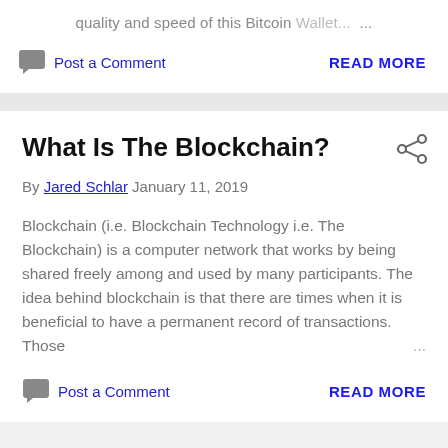quality and speed of this Bitcoin Wallet...
Post a Comment   READ MORE
What Is The Blockchain?
By Jared Schlar January 11, 2019
Blockchain (i.e. Blockchain Technology i.e. The Blockchain) is a computer network that works by being shared freely among and used by many participants. The idea behind blockchain is that there are times when it is beneficial to have a permanent record of transactions. Those ...
Post a Comment   READ MORE